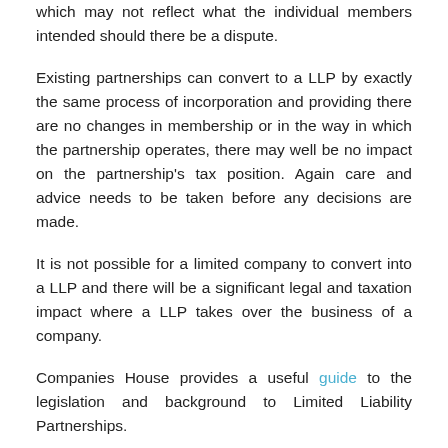which may not reflect what the individual members intended should there be a dispute.
Existing partnerships can convert to a LLP by exactly the same process of incorporation and providing there are no changes in membership or in the way in which the partnership operates, there may well be no impact on the partnership's tax position. Again care and advice needs to be taken before any decisions are made.
It is not possible for a limited company to convert into a LLP and there will be a significant legal and taxation impact where a LLP takes over the business of a company.
Companies House provides a useful guide to the legislation and background to Limited Liability Partnerships.
Which businesses might want to use a